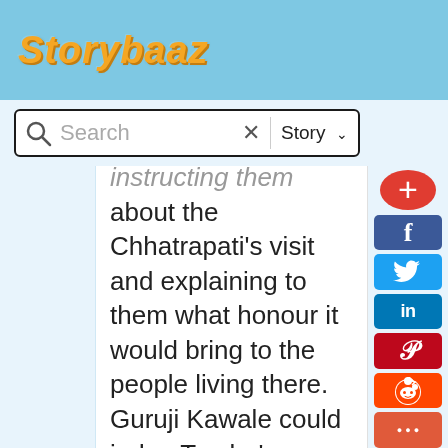Storybaaz
Search | Story
instructing them about the Chhatrapati's visit and explaining to them what honour it would bring to the people living there. Guruji Kawale could judge Tambe's anger and requested...
'Tambe! Bhau,